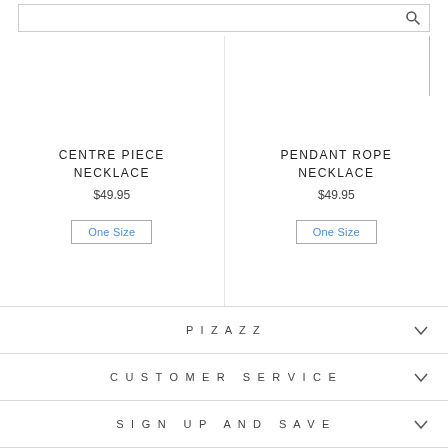CENTRE PIECE NECKLACE
$49.95
One Size
PENDANT ROPE NECKLACE
$49.95
One Size
PIZAZZ
CUSTOMER SERVICE
SIGN UP AND SAVE